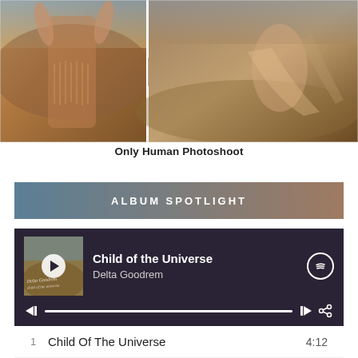[Figure (photo): Two fashion photoshoot images side by side: left shows woman in bohemian fringe vest with arms raised in desert setting; right shows woman in flowing pink robe/coat in arid landscape.]
Only Human Photoshoot
ALBUM SPOTLIGHT
[Figure (screenshot): Spotify music player widget showing Child of the Universe album by Delta Goodrem with track listing: 1 Child Of The Universe 4:12, 2 Touch 4:21]
1  Child Of The Universe  4:12
2  Touch  4:21